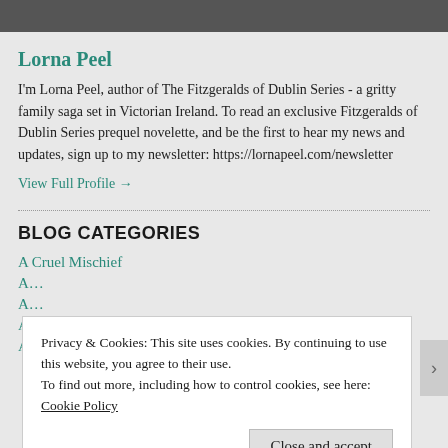[Figure (photo): Partial photo strip at top of page, dark/gray tones]
Lorna Peel
I'm Lorna Peel, author of The Fitzgeralds of Dublin Series - a gritty family saga set in Victorian Ireland. To read an exclusive Fitzgeralds of Dublin Series prequel novelette, and be the first to hear my news and updates, sign up to my newsletter: https://lornapeel.com/newsletter
View Full Profile →
BLOG CATEGORIES
A Cruel Mischief
Privacy & Cookies: This site uses cookies. By continuing to use this website, you agree to their use.
To find out more, including how to control cookies, see here:
Cookie Policy
Close and accept